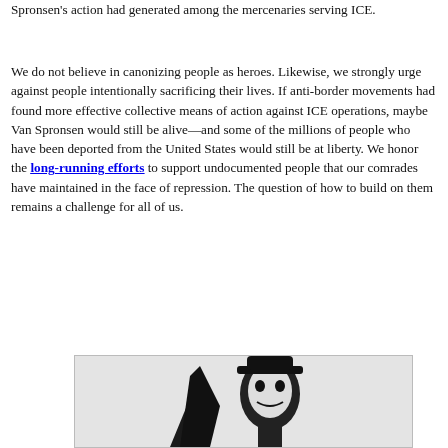Spronsen's action had generated among the mercenaries serving ICE.
We do not believe in canonizing people as heroes. Likewise, we strongly urge against people intentionally sacrificing their lives. If anti-border movements had found more effective collective means of action against ICE operations, maybe Van Spronsen would still be alive—and some of the millions of people who have been deported from the United States would still be at liberty. We honor the long-running efforts to support undocumented people that our comrades have maintained in the face of repression. The question of how to build on them remains a challenge for all of us.
[Figure (illustration): Partial black and white illustration showing what appears to be a figure or portrait, cropped at bottom of page]